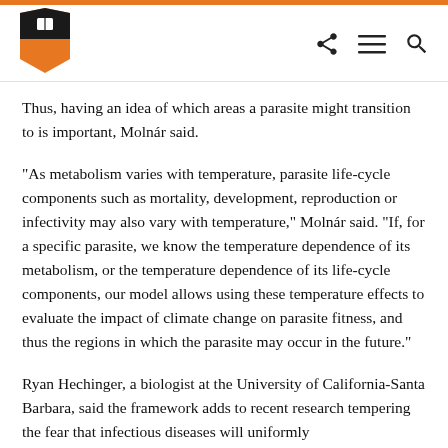Princeton University header with logo and navigation icons
Thus, having an idea of which areas a parasite might transition to is important, Molnár said.
“As metabolism varies with temperature, parasite life-cycle components such as mortality, development, reproduction or infectivity may also vary with temperature,” Molnár said. “If, for a specific parasite, we know the temperature dependence of its metabolism, or the temperature dependence of its life-cycle components, our model allows using these temperature effects to evaluate the impact of climate change on parasite fitness, and thus the regions in which the parasite may occur in the future.”
Ryan Hechinger, a biologist at the University of California-Santa Barbara, said the framework adds to recent research tempering the fear that infectious diseases will uniformly